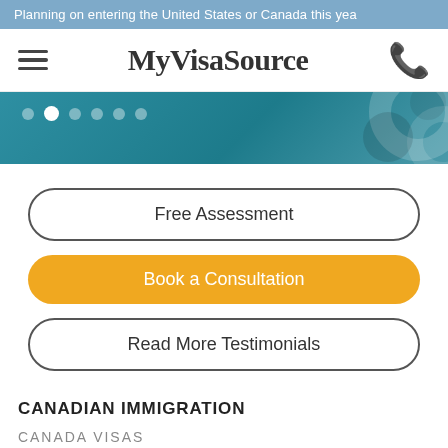Planning on entering the United States or Canada this yea
[Figure (screenshot): MyVisaSource website navigation bar with hamburger menu icon on left, MyVisaSource logo in center, and phone icon on right]
[Figure (screenshot): Slider/banner area with teal/blue background, navigation dots (second dot active/white), and decorative circles overlay]
Free Assessment
Book a Consultation
Read More Testimonials
CANADIAN IMMIGRATION
CANADA VISAS